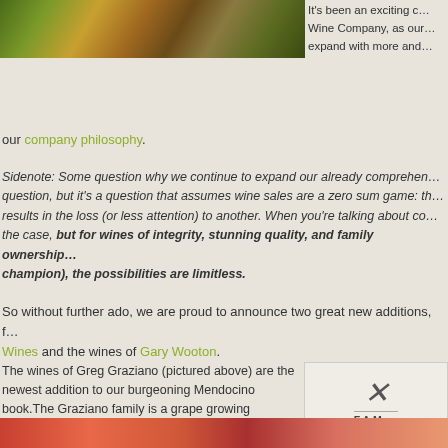[Figure (photo): Top photo of grapes and vineyard scene, partial crop]
It's been an exciting c… Wine Company, as our … expand with more and…
our company philosophy.
Sidenote: Some question why we continue to expand our already comprehen… question, but it's a question that assumes wine sales are a zero sum game: th… results in the loss (or less attention) to another. When you're talking about co… the case, but for wines of integrity, stunning quality, and family ownership… champion), the possibilities are limitless.
So without further ado, we are proud to announce two great new additions, f… Wines and the wines of Gary Wooton.
The wines of Greg Graziano (pictured above) are the newest addition to our burgeoning Mendocino book.The Graziano family is a grape growing institution in Mendocino very much like the Parduccis of McNab Ridge. In fact the Grazianos started growing grapes (before Prohibition) a few years before the Parduccis (although the Parducci's have been bottling wine longer).
[Figure (logo): Graziano Family Winery logo with script and FAM text]
The multiple labels and tiers of Greg's portfolio show his interest (and abilities) in a wide range of styles, and if you're not familiar with this por… how they consistently over-deliver.
[Figure (photo): Bottom partial photo of grapes/vineyard]